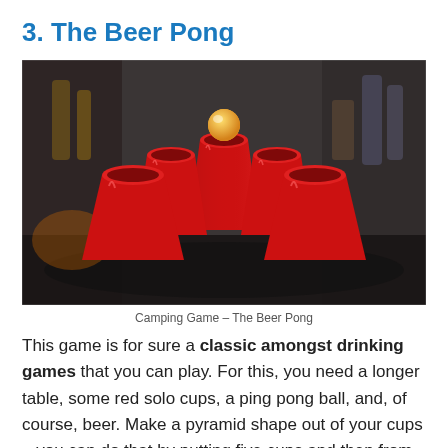3. The Beer Pong
[Figure (photo): Five red solo cups arranged in a pyramid formation on a table, with an orange ping pong ball resting on top of the front cup. Background is blurred with various items visible.]
Camping Game – The Beer Pong
This game is for sure a classic amongst drinking games that you can play. For this, you need a longer table, some red solo cups, a ping pong ball, and, of course, beer. Make a pyramid shape out of your cups – you can do that by putting five cups and then from the center. Do not forget to fill